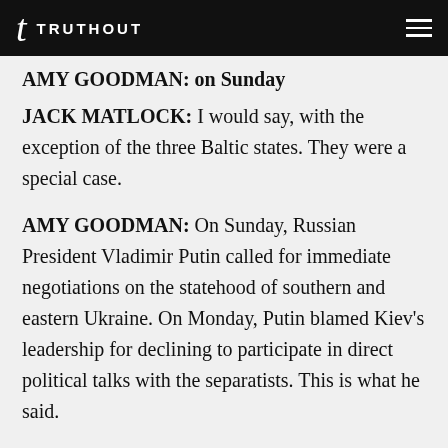TRUTHOUT
AMY GOODMAN: on Sunday
JACK MATLOCK: I would say, with the exception of the three Baltic states. They were a special case.
AMY GOODMAN: On Sunday, Russian President Vladimir Putin called for immediate negotiations on the statehood of southern and eastern Ukraine. On Monday, Putin blamed Kiev's leadership for declining to participate in direct political talks with the separatists. This is what he said.